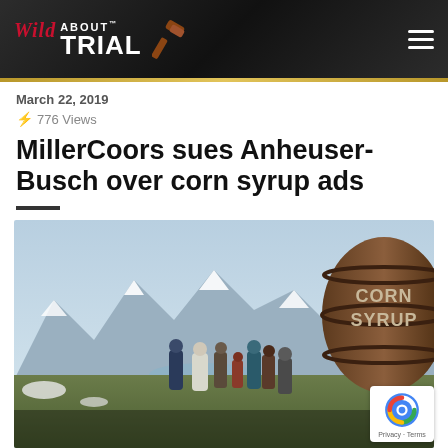Wild About Trial
March 22, 2019
776 Views
MillerCoors sues Anheuser-Busch over corn syrup ads
[Figure (photo): Scene from a Bud Light Super Bowl commercial showing medieval-costumed figures standing before a large barrel labeled 'CORN SYRUP', with a mountainous snowy landscape in the background.]